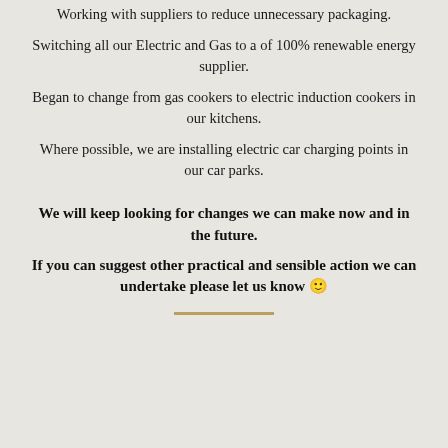Working with suppliers to reduce unnecessary packaging.
Switching all our Electric and Gas to a of 100% renewable energy supplier.
Began to change from gas cookers to electric induction cookers in our kitchens.
Where possible, we are installing electric car charging points in our car parks.
We will keep looking for changes we can make now and in the future.
If you can suggest other practical and sensible action we can undertake please let us know 🙂